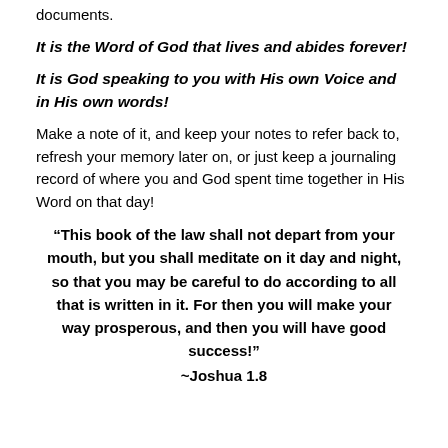documents.
It is the Word of God that lives and abides forever!
It is God speaking to you with His own Voice and in His own words!
Make a note of it, and keep your notes to refer back to, refresh your memory later on, or just keep a journaling record of where you and God spent time together in His Word on that day!
“This book of the law shall not depart from your mouth, but you shall meditate on it day and night, so that you may be careful to do according to all that is written in it. For then you will make your way prosperous, and then you will have good success!”
~Joshua 1.8